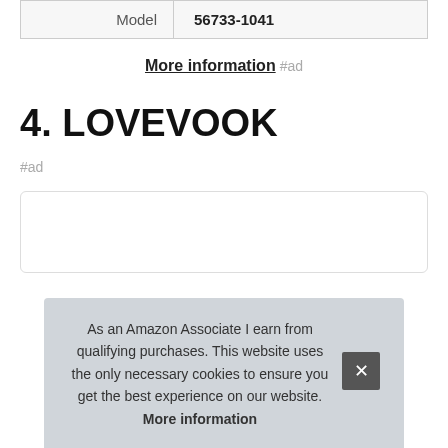| Model | 56733-1041 |
More information #ad
4. LOVEVOOK
#ad
As an Amazon Associate I earn from qualifying purchases. This website uses the only necessary cookies to ensure you get the best experience on our website. More information